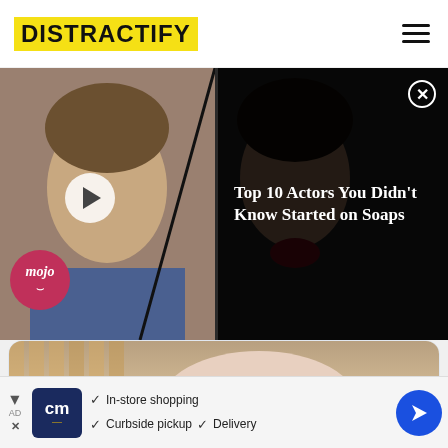DISTRACTIFY
[Figure (screenshot): Video overlay thumbnail showing two male actors side by side with play button, mojo badge, and dark sidebar with title 'Top 10 Actors You Didn't Know Started on Soaps' and close button]
[Figure (photo): Partial photo of a person in a light shirt near a wooden fence]
distractify.com
Jill Duggar Underwent Surgery Just Six Weeks After Having a C-section
4:52 PM · Aug 23, 2022
1  Reply  Copy link
Explore what's happening on Twitter
[Figure (screenshot): Ad banner: cm logo on dark blue background, checkmarks for In-store shopping, Curbside pickup, Delivery, blue navigation arrow]